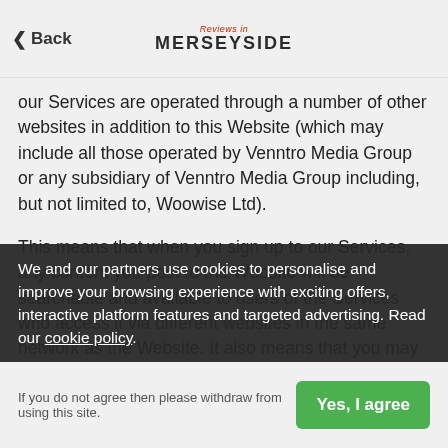Back | Reviews in Merseyside
our Services are operated through a number of other websites in addition to this Website (which may include all those operated by Venntro Media Group or any subsidiary of Venntro Media Group including, but not limited to, Woowise Ltd).
This means that when you sign up to our Services, any content you post to the Website will be searchable and available to users of the Services who access it via different websites in the same network as the Website. It also means that you may view and communicate with other members of the Services who have registered with and accessed the Service through different websites in the same network. You will have no control over which websites within a network your data is shared with, but you will always be able to [prevent any member of the network] from accessing your profile and interacting with you.
We and our partners use cookies to personalise and improve your browsing experience with exciting offers, interactive platform features and targeted advertising. Read our cookie policy.
If you do not agree then please withdraw from using this site.
These networks group you together with members of the Services